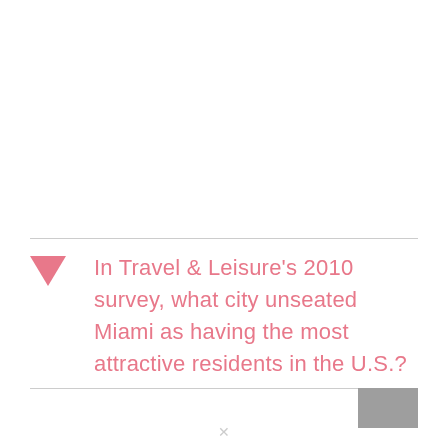In Travel & Leisure's 2010 survey, what city unseated Miami as having the most attractive residents in the U.S.?